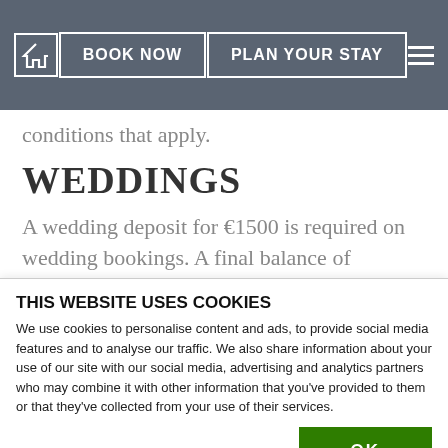BOOK NOW | PLAN YOUR STAY
conditions that apply.
WEDDINGS
A wedding deposit for €1500 is required on wedding bookings. A final balance of estimated charge for the event (less the
THIS WEBSITE USES COOKIES
We use cookies to personalise content and ads, to provide social media features and to analyse our traffic. We also share information about your use of our site with our social media, advertising and analytics partners who may combine it with other information that you've provided to them or that they've collected from your use of their services.
OK
Necessary   Preferences   Statistics   Marketing   Show details